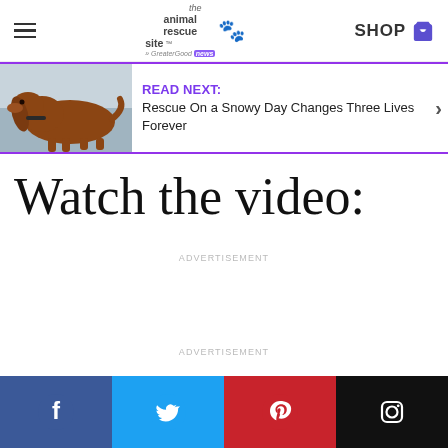The Animal Rescue Site News | SHOP
[Figure (screenshot): Promotional banner with a dachshund dog photo and text: READ NEXT: Rescue On a Snowy Day Changes Three Lives Forever]
Watch the video:
ADVERTISEMENT
ADVERTISEMENT
[Figure (infographic): Social media share buttons: Facebook (blue), Twitter (blue), Pinterest (red), Instagram (black)]